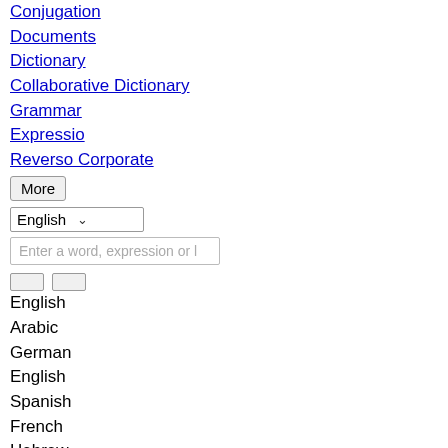Conjugation
Documents
Dictionary
Collaborative Dictionary
Grammar
Expressio
Reverso Corporate
More
English
Enter a word, expression or l
English
Arabic
German
English
Spanish
French
Hebrew
Italian
Japanese
Dutch
Polish
Portuguese
Romanian
Russian